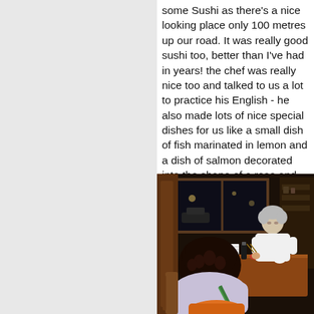some Sushi as there's a nice looking place only 100 metres up our road. It was really good sushi too, better than I've had in years! the chef was really nice too and talked to us a lot to practice his English - he also made lots of nice special dishes for us like a small dish of fish marinated in lemon and a dish of salmon decorated into the shape of a rose and served on fire! (missed the photo of that dish sorry)
[Figure (photo): Interior of a sushi restaurant at night. Two people are seated at a wooden table with food and drinks. A person with curly dark hair is seen from behind in the foreground wearing a light top with a green strap bag. Another person with grey hair sits across the table wearing a white shirt. Large windows in the background show a dark night outside.]